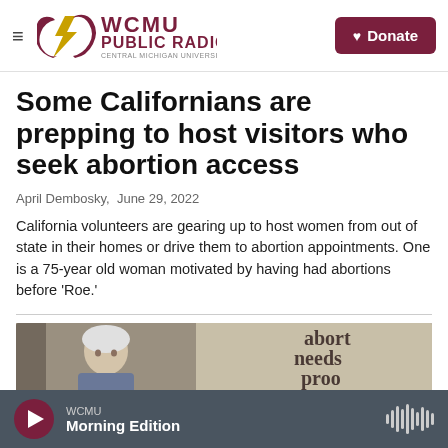WCMU PUBLIC RADIO — CENTRAL MICHIGAN UNIVERSITY
Some Californians are prepping to host visitors who seek abortion access
April Dembosky,  June 29, 2022
California volunteers are gearing up to host women from out of state in their homes or drive them to abortion appointments. One is a 75-year old woman motivated by having had abortions before 'Roe.'
[Figure (photo): Photo of an older woman, with a sign reading 'abortion needs pro' visible in the background]
WCMU Morning Edition (audio player bar)